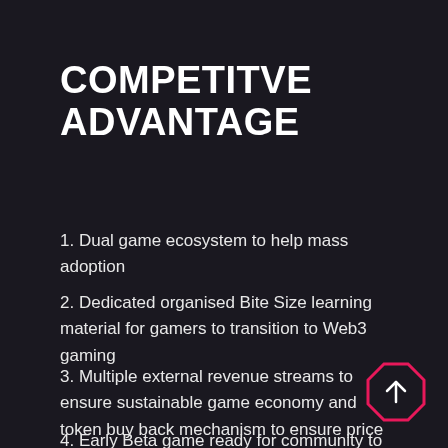COMPETITVE ADVANTAGE
1. Dual game ecosystem to help mass adoption
2. Dedicated organised Bite Size learning material for gamers to transition to Web3 gaming
3. Multiple external revenue streams to ensure sustainable game economy and token buy back mechanism to ensure price stability/appreciation
4. Early Beta game ready for community to